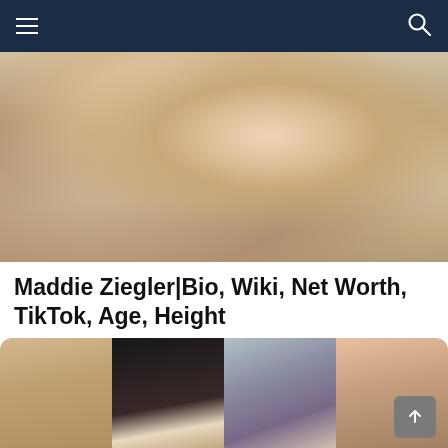Navigation bar with hamburger menu and search icon
[Figure (photo): Close-up selfie photo of a young blonde woman, cropped to show lower face and shoulders]
Maddie Ziegler|Bio, Wiki, Net Worth, TikTok, Age, Height
13.9k Shares
by VideoFeed TV   about a year ago
[Figure (photo): Collage of four photos showing a young woman in different poses and outfits]